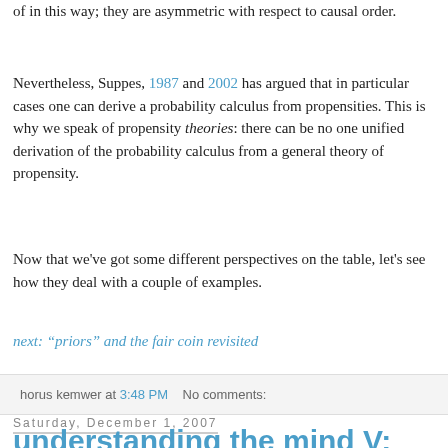of in this way; they are asymmetric with respect to causal order.
Nevertheless, Suppes, 1987 and 2002 has argued that in particular cases one can derive a probability calculus from propensities. This is why we speak of propensity theories: there can be no one unified derivation of the probability calculus from a general theory of propensity.
Now that we've got some different perspectives on the table, let's see how they deal with a couple of examples.
next: "priors" and the fair coin revisited
horus kemwer at 3:48 PM   No comments:
Saturday, December 1, 2007
understanding the mind V: color vision
Why do we use words like white, black, red, yellow, etc. to describe the experience brought on by related objects ...